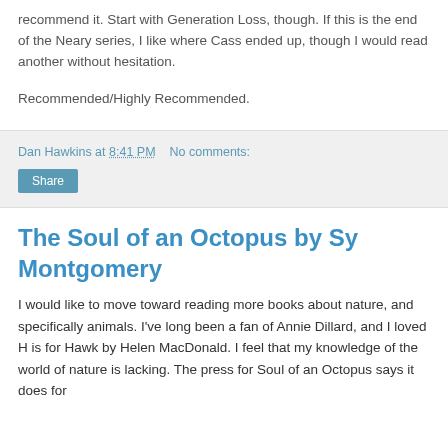recommend it. Start with Generation Loss, though. If this is the end of the Neary series, I like where Cass ended up, though I would read another without hesitation.
Recommended/Highly Recommended.
Dan Hawkins at 8:41 PM   No comments:
Share
The Soul of an Octopus by Sy Montgomery
I would like to move toward reading more books about nature, and specifically animals. I've long been a fan of Annie Dillard, and I loved H is for Hawk by Helen MacDonald. I feel that my knowledge of the world of nature is lacking. The press for Soul of an Octopus says it does for